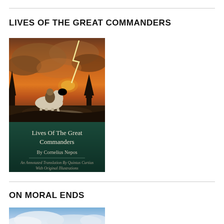LIVES OF THE GREAT COMMANDERS
[Figure (photo): Book cover of 'Lives Of The Great Commanders' by Cornelius Nepos. An Annotated Translation By Quintus Curtius With Original Illustrations. Cover shows a rider on a white horse against a dramatic stormy sky with lightning.]
ON MORAL ENDS
[Figure (photo): Partial book cover of 'On Moral Ends', showing a sky with clouds.]